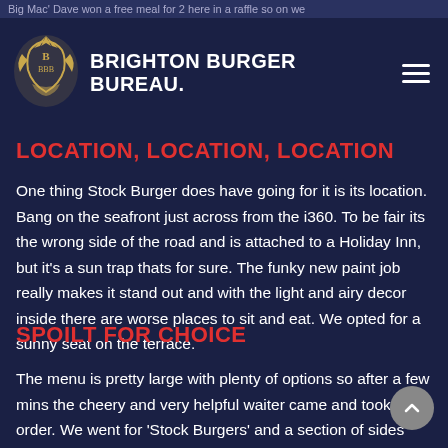Big Mac' Dave won a free meal for 2 here in a raffle so on we
[Figure (logo): Brighton Burger Bureau logo: ornate golden crest with stylized lettering]
BRIGHTON BURGER BUREAU.
LOCATION, LOCATION, LOCATION
One thing Stock Burger does have going for it is its location. Bang on the seafront just across from the i360. To be fair its the wrong side of the road and is attached to a Holiday Inn, but it's a sun trap thats for sure. The funky new paint job really makes it stand out and with the light and airy decor inside there are worse places to sit and eat. We opted for a sunny seat on the terrace.
SPOILT FOR CHOICE
The menu is pretty large with plenty of options so after a few mins the cheery and very helpful waiter came and took our order. We went for 'Stock Burgers' and a section of sides including Mac & Cheese bites, courgette fries, cauliflower bites...